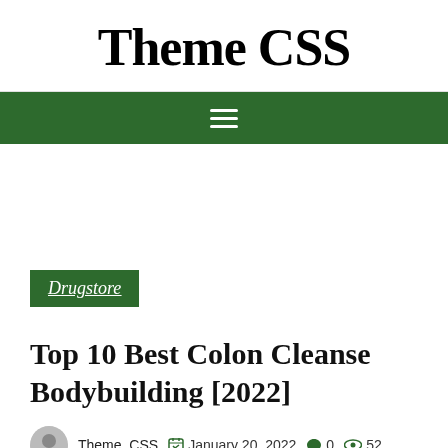Theme CSS
[Figure (other): Navigation hamburger menu icon (three horizontal white lines) on dark green background bar]
Drugstore
Top 10 Best Colon Cleanse Bodybuilding [2022]
Theme_CSS   January 20, 2022   0   52